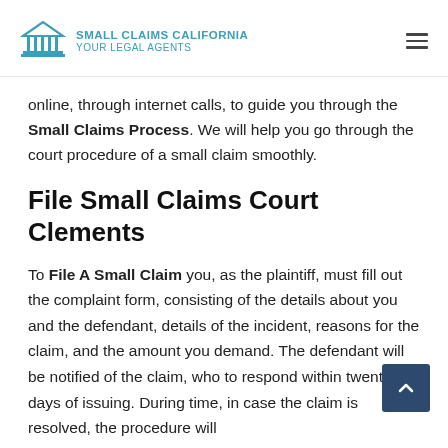SMALL CLAIMS CALIFORNIA YOUR LEGAL AGENTS
online, through internet calls, to guide you through the Small Claims Process. We will help you go through the court procedure of a small claim smoothly.
File Small Claims Court Clements
To File A Small Claim you, as the plaintiff, must fill out the complaint form, consisting of the details about you and the defendant, details of the incident, reasons for the claim, and the amount you demand. The defendant will be notified of the claim, who to respond within twenty days of issuing. During time, in case the claim is resolved, the procedure will